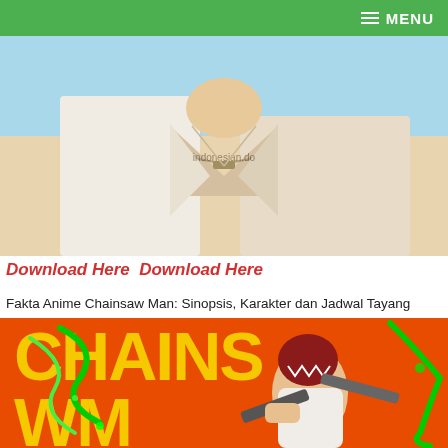MENU
[Figure (illustration): Anime character illustration — torso of a person in a white/beige jacket with a chain necklace, light blue sky background, watermark text visible on center]
Download Here  Download Here
Fakta Anime Chainsaw Man: Sinopsis, Karakter dan Jadwal Tayang
[Figure (illustration): Chainsaw Man anime promotional image — orange background with large yellow text 'CHAINS WM', featuring the Chainsaw Man character holding chainsaws with green energy effects]